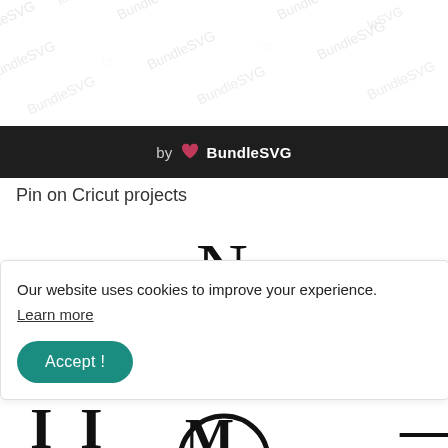[Figure (logo): BundleSVG watermark pattern in light gray repeated diagonally across the top portion of the page]
by BundleSVG
Pin on Cricut projects
[Figure (illustration): North arrow SVG showing letter N above a downward-pointing triangular arrow]
Our website uses cookies to improve your experience. Learn more
[Figure (other): Accept! button in teal rounded rectangle and partially visible bottom SVG content]